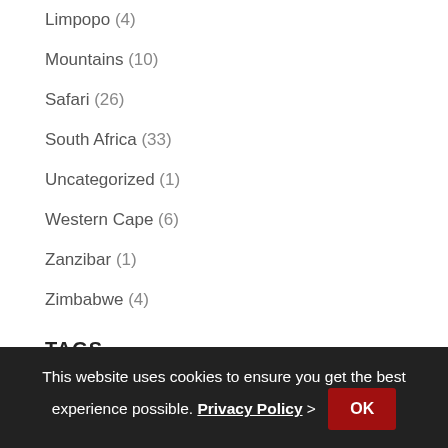Limpopo (4)
Mountains (10)
Safari (26)
South Africa (33)
Uncategorized (1)
Western Cape (6)
Zanzibar (1)
Zimbabwe (4)
TAGS
Adventure (26)
africa (12)
beach (5)
beach holiday (2)
Black Rhino Game Lodge (6)
This website uses cookies to ensure you get the best experience possible. Privacy Policy > OK